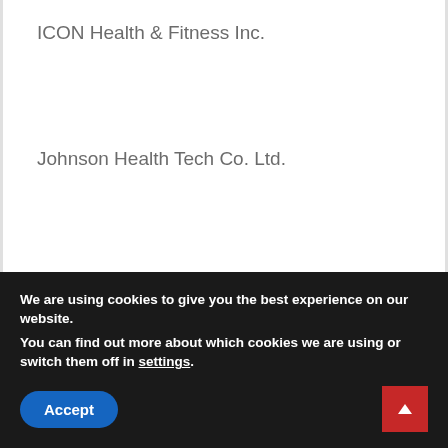ICON Health & Fitness Inc.
Johnson Health Tech Co. Ltd.
Technogym S.p.A.
Life Fitness
Core Health & Fitness LLC
Land America Health and Fitness Co. Ltd.
We are using cookies to give you the best experience on our website.
You can find out more about which cookies we are using or switch them off in settings.